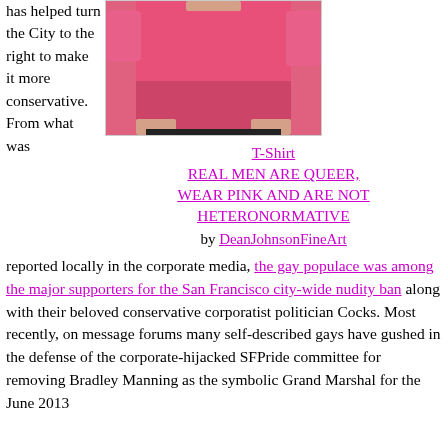has helped turn the City to the right to make it more conservative. From what was
[Figure (photo): Person wearing a pink t-shirt, cropped to show torso only]
T-Shirt
REAL MEN ARE QUEER, WEAR PINK AND ARE NOT HETERONORMATIVE
by DeanJohnsonFineArt
reported locally in the corporate media, the gay populace was among the major supporters for the San Francisco city-wide nudity ban along with their beloved conservative corporatist politician Cocks. Most recently, on message forums many self-described gays have gushed in the defense of the corporate-hijacked SFPride committee for removing Bradley Manning as the symbolic Grand Marshal for the June 2013